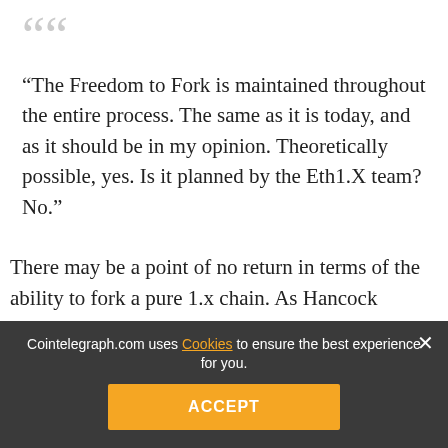“The Freedom to Fork is maintained throughout the entire process. The same as it is today, and as it should be in my opinion. Theoretically possible, yes. Is it planned by the Eth1.X team? No.”
There may be a point of no return in terms of the ability to fork a pure 1.x chain. As Hancock elaborated, as soon as t… pri…
specific milestones for it as of yet.
#Blockchain  #…
[Figure (other): Social share bar with Facebook, Twitter, Telegram, Reddit, LinkedIn, WhatsApp, Copy, and scroll-up buttons]
Cointelegraph.com uses Cookies to ensure the best experience for you. ACCEPT